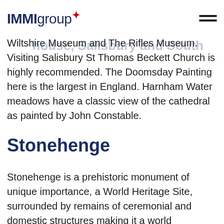IMMIgroup
Wiltshire Museum and The Rifles Museum. Visiting Salisbury St Thomas Beckett Church is highly recommended. The Doomsday Painting here is the largest in England. Harnham Water meadows have a classic view of the cathedral as painted by John Constable.
Stonehenge
Stonehenge is a prehistoric monument of unique importance, a World Heritage Site, surrounded by remains of ceremonial and domestic structures making it a world renowned tourist attraction.